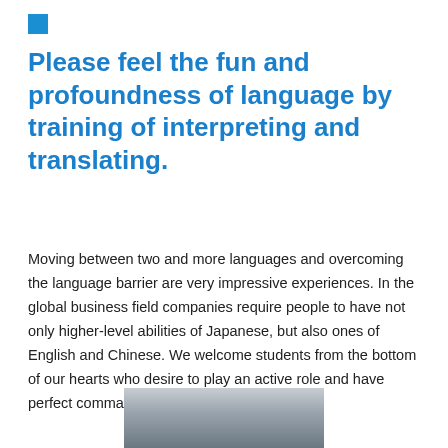Please feel the fun and profoundness of language by training of interpreting and translating.
Moving between two and more languages and overcoming the language barrier are very impressive experiences. In the global business field companies require people to have not only higher-level abilities of Japanese, but also ones of English and Chinese. We welcome students from the bottom of our hearts who desire to play an active role and have perfect command of these languages.
[Figure (photo): Partial photo visible at bottom of page, appears to show a landscape or architectural scene in grey tones.]